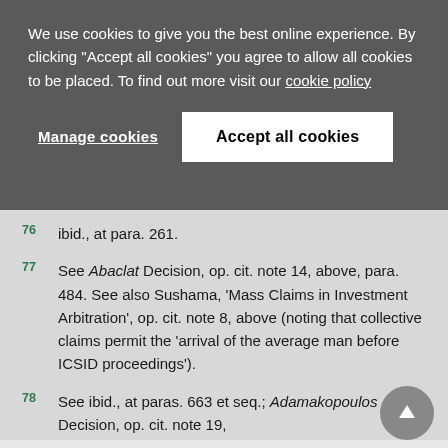We use cookies to give you the best online experience. By clicking "Accept all cookies" you agree to allow all cookies to be placed. To find out more visit our cookie policy
Manage cookies | Accept all cookies
76 ibid., at para. 261.
77 See Abaclat Decision, op. cit. note 14, above, para. 484. See also Sushama, 'Mass Claims in Investment Arbitration', op. cit. note 8, above (noting that collective claims permit the 'arrival of the average man before ICSID proceedings').
78 See ibid., at paras. 663 et seq.; Adamakopoulos Decision, op. cit. note 19,